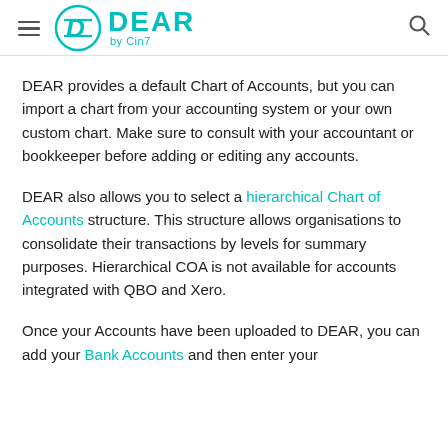DEAR by Cin7
DEAR provides a default Chart of Accounts, but you can import a chart from your accounting system or your own custom chart. Make sure to consult with your accountant or bookkeeper before adding or editing any accounts.
DEAR also allows you to select a hierarchical Chart of Accounts structure. This structure allows organisations to consolidate their transactions by levels for summary purposes. Hierarchical COA is not available for accounts integrated with QBO and Xero.
Once your Accounts have been uploaded to DEAR, you can add your Bank Accounts and then enter your